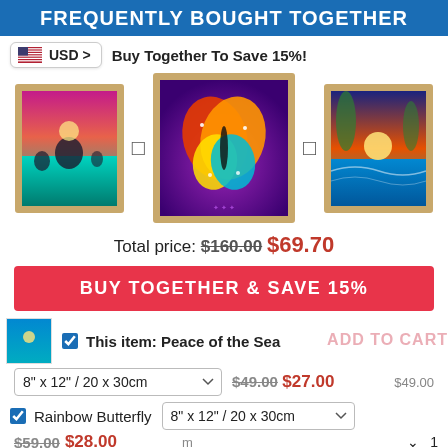FREQUENTLY BOUGHT TOGETHER
USD > Buy Together To Save 15%!
[Figure (photo): Three framed artwork products: left - tropical sunset landscape, center (large) - colorful rainbow butterfly on purple background, right - ocean sunset scene]
Total price: $160.00 $69.70
BUY TOGETHER & SAVE 15%
This item: Peace of the Sea
8" x 12" / 20 x 30cm  $49.00 $27.00
Rainbow Butterfly  8" x 12" / 20 x 30cm
$59.00 $28.00
Peace at Sea  8" x 12" / 20 x 30cm